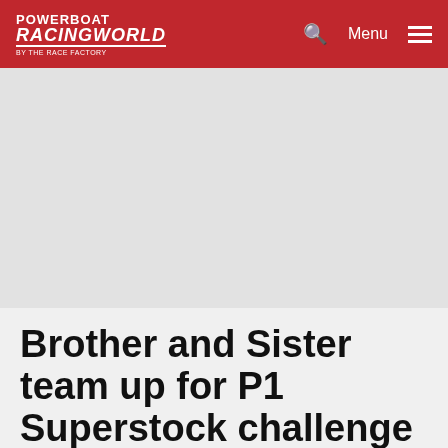POWERBOAT RACINGWORLD — Menu
[Figure (photo): Large image area (appears blank/grey in this render) between the header and the article title]
Brother and Sister team up for P1 Superstock challenge